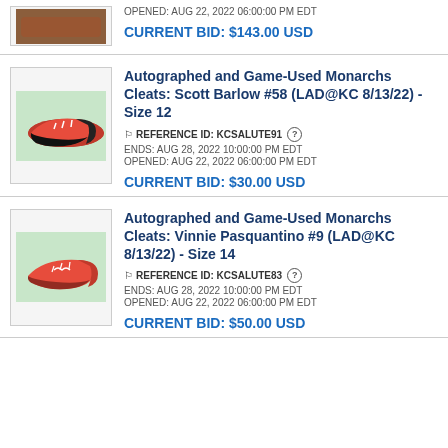OPENED: AUG 22, 2022 06:00:00 PM EDT
CURRENT BID: $143.00 USD
Autographed and Game-Used Monarchs Cleats: Scott Barlow #58 (LAD@KC 8/13/22) - Size 12
REFERENCE ID: KCSALUTE91
ENDS: AUG 28, 2022 10:00:00 PM EDT
OPENED: AUG 22, 2022 06:00:00 PM EDT
CURRENT BID: $30.00 USD
Autographed and Game-Used Monarchs Cleats: Vinnie Pasquantino #9 (LAD@KC 8/13/22) - Size 14
REFERENCE ID: KCSALUTE83
ENDS: AUG 28, 2022 10:00:00 PM EDT
OPENED: AUG 22, 2022 06:00:00 PM EDT
CURRENT BID: $50.00 USD